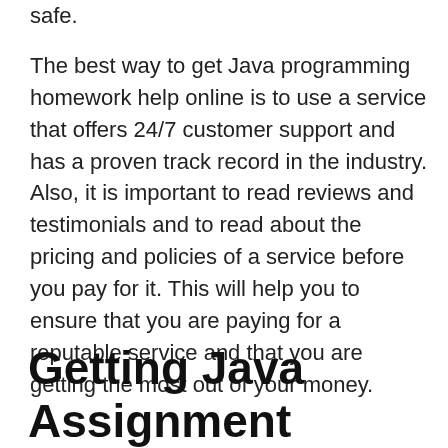safe.
The best way to get Java programming homework help online is to use a service that offers 24/7 customer support and has a proven track record in the industry. Also, it is important to read reviews and testimonials and to read about the pricing and policies of a service before you pay for it. This will help you to ensure that you are paying for a reputable service and that you are getting the most out of your money.
Getting Java Assignment